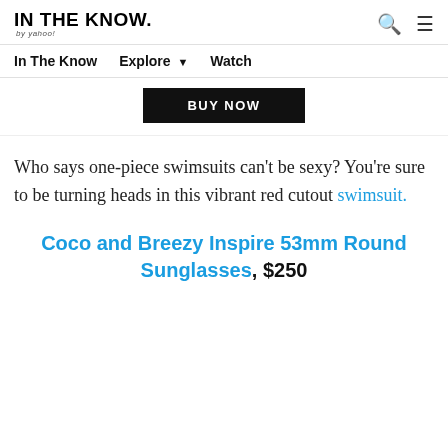IN THE KNOW. by yahoo!
In The Know   Explore ▼   Watch
BUY NOW
Who says one-piece swimsuits can't be sexy? You're sure to be turning heads in this vibrant red cutout swimsuit.
Coco and Breezy Inspire 53mm Round Sunglasses, $250